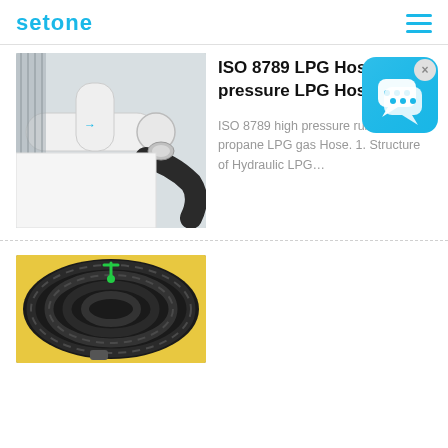setone
[Figure (photo): ISO 8789 LPG hose installation with white pipe fittings and black rubber hose]
ISO 8789 LPG Hose,high pressure LPG Hose
ISO 8789 high pressure rubber bulk propane LPG gas Hose. 1. Structure of Hydraulic LPG…
[Figure (photo): Coiled black rubber LPG hose with green tie]
[Figure (logo): Chat widget icon with speech bubbles on blue rounded square background with X close button]